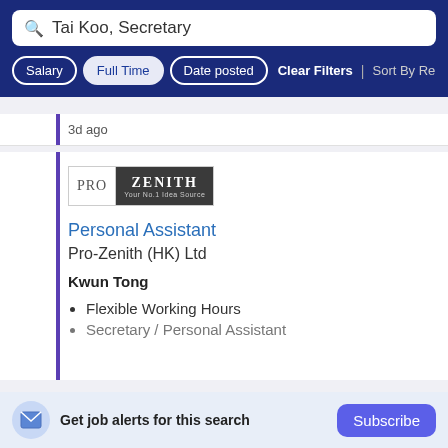[Figure (screenshot): Search bar with text 'Tai Koo, Secretary']
Salary | Full Time | Date posted | Clear Filters | Sort By Rele
3d ago
[Figure (logo): PRO ZENITH - Your No.1 Idea Source company logo]
Personal Assistant
Pro-Zenith (HK) Ltd
Kwun Tong
Flexible Working Hours
Secretary / Personal Assistant
Get job alerts for this search